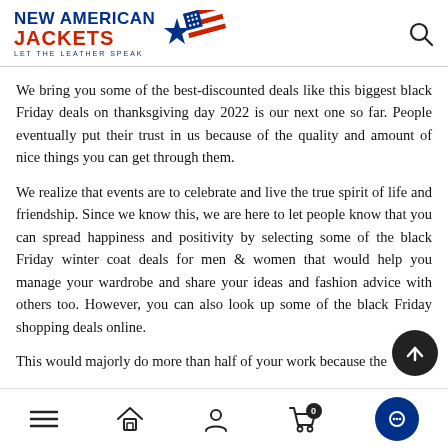[Figure (logo): New American Jackets logo with blue star and American flag banner, tagline 'LET THE LEATHER SPEAK']
We bring you some of the best-discounted deals like this biggest black Friday deals on thanksgiving day 2022 is our next one so far. People eventually put their trust in us because of the quality and amount of nice things you can get through them.
We realize that events are to celebrate and live the true spirit of life and friendship. Since we know this, we are here to let people know that you can spread happiness and positivity by selecting some of the black Friday winter coat deals for men & women that would help you manage your wardrobe and share your ideas and fashion advice with others too. However, you can also look up some of the black Friday shopping deals online.
This would majorly do more than half of your work because the